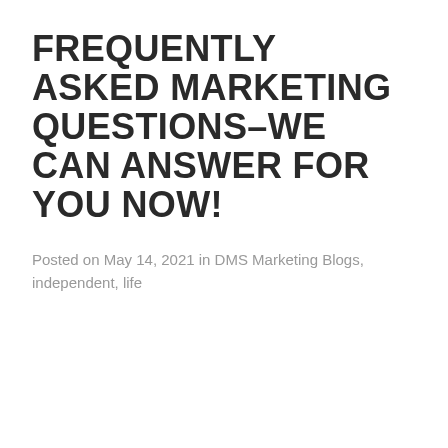FREQUENTLY ASKED MARKETING QUESTIONS–WE CAN ANSWER FOR YOU NOW!
Posted on May 14, 2021 in DMS Marketing Blogs, independent, life